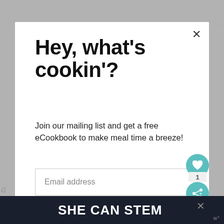Hey, what's cookin'?
Join our mailing list and get a free eCookbook to make meal time a breeze!
Email address
Subscribe
WHAT'S NEXT → My Top Five 2016 Disney...
SHE CAN STEM